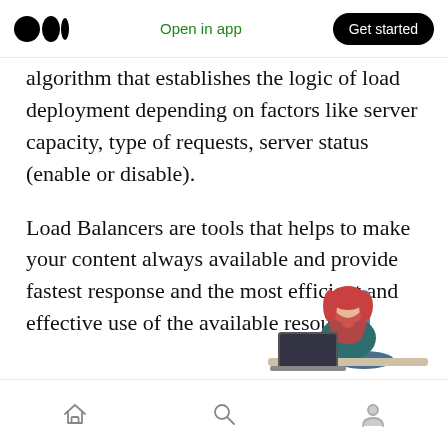Open in app  Get started
algorithm that establishes the logic of load deployment depending on factors like server capacity, type of requests, server status (enable or disable).
Load Balancers are tools that helps to make your content always available and provide fastest response and the most efficient and effective use of the available resources.
[Figure (illustration): Partial illustration of a person with red/orange hair sitting at a desk working on a computer, shown from mid-torso up, wearing a dark teal top]
Home  Search  Profile